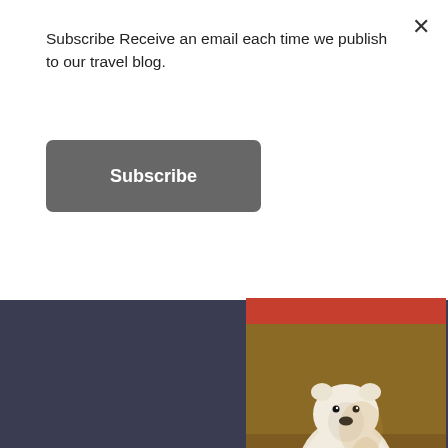Subscribe Receive an email each time we publish to our travel blog.
Subscribe
[Figure (photo): Red/orange colored strip at top right, partially visible]
[Figure (photo): Polar bear sitting in dry grass, photographed from ground level]
Load More...
Follow on Instagram